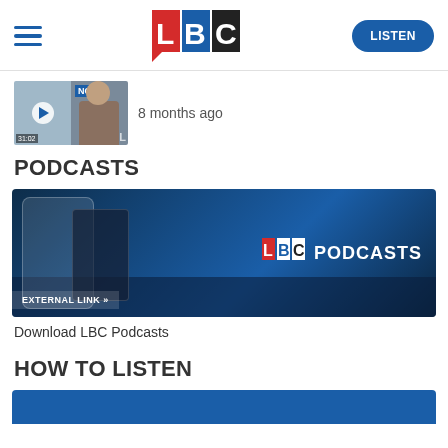LBC — LISTEN
[Figure (screenshot): Two thumbnail images side by side showing video/news clips with a play button overlay]
8 months ago
PODCASTS
[Figure (screenshot): LBC Podcasts promotional banner showing smartphones with the LBC app and LBC PODCASTS logo on a dark blue background with London skyline silhouette. EXTERNAL LINK » label in bottom-left corner.]
Download LBC Podcasts
HOW TO LISTEN
[Figure (screenshot): Bottom partial banner in blue, partially cut off]